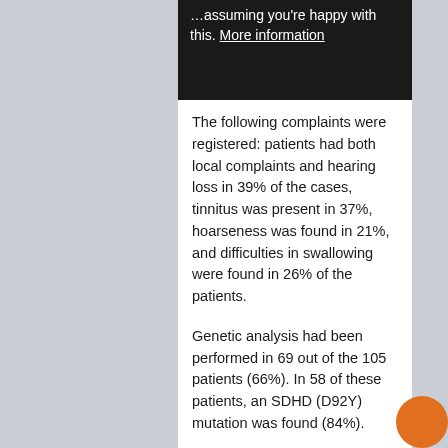…assuming you're happy with this. More information
The following complaints were registered: patients had both local complaints and hearing loss in 39% of the cases, tinnitus was present in 37%, hoarseness was found in 21%, and difficulties in swallowing were found in 26% of the patients.
Genetic analysis had been performed in 69 out of the 105 patients (66%). In 58 of these patients, an SDHD (D92Y) mutation was found (84%).
QoL in head-and-neck paraganglioma patients
Patients with head-and-neck paragangliomas reported a substantially impaired QoL compared with their own controls and the extended control group (Table 2). The QoL scores were significantly reduced